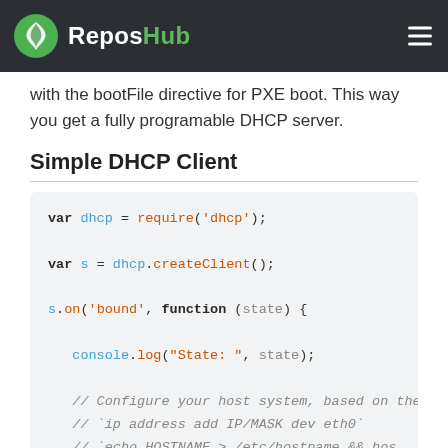ReposHub
with the bootFile directive for PXE boot. This way you get a fully programable DHCP server.
Simple DHCP Client
var dhcp = require('dhcp');

var s = dhcp.createClient();

s.on('bound', function (state) {

    console.log("State: ", state);

    // Configure your host system, based on the
    // `ip address add IP/MASK dev eth0`
    // `echo HOSTNAME > /etc/hostname && hos
    // `ip route add default via 192.168.1.254
    // `sysctl -w net.inet.ip.forwarding=1`